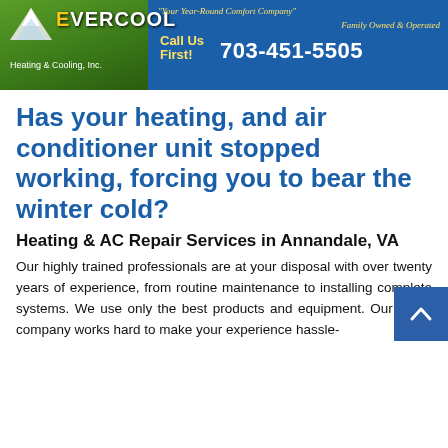[Figure (logo): Evercool Heating & Cooling, Inc. banner with logo, tagline 'Your Year-Round Comfort Company', 'Family Owned & Operated', 'Call Us First!', and phone number 703-451-5505 on blue background]
Has your heating, and air conditioner unit stopped working, forcing you to bear the winter cold?
Heating & AC Repair Services in Annandale, VA
Our highly trained professionals are at your disposal with over twenty years of experience, from routine maintenance to installing complete systems. We use only the best products and equipment. Our entire company works hard to make your experience hassle-